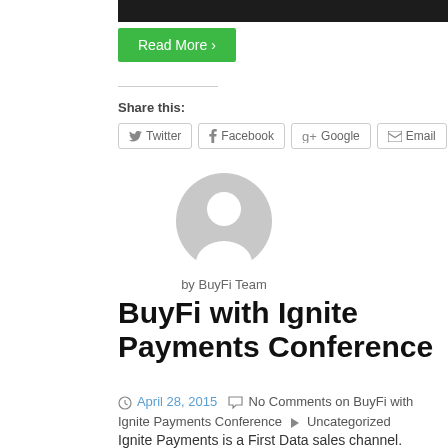[Figure (illustration): Dark banner/header image strip at top of page]
Read More ›
Share this:
Twitter  Facebook  Google+  Email
[Figure (illustration): Generic user avatar - circular grey silhouette of a person]
by BuyFi Team
BuyFi with Ignite Payments Conference
April 28, 2015  No Comments on BuyFi with Ignite Payments Conference  Uncategorized
Ignite Payments is a First Data sales channel. Presenting at their conference. We really